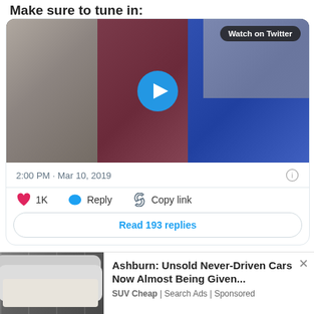Make sure to tune in:
[Figure (screenshot): Video thumbnail of three women standing in an office scene: woman on left in gray blazer, woman in center in dark red/maroon top, woman on right in royal blue sleeveless dress. A circular blue play button is overlaid in the center. A 'Watch on Twitter' badge appears in the top-right corner.]
2:00 PM · Mar 10, 2019
1K  Reply  Copy link
Read 193 replies
Ashburn: Unsold Never-Driven Cars Now Almost Being Given...
SUV Cheap | Search Ads | Sponsored